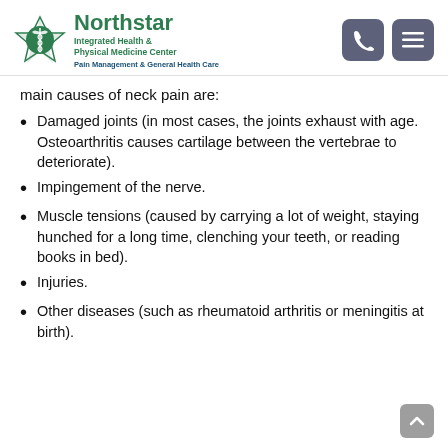[Figure (logo): Northstar Integrated Health & Physical Medicine Center logo with caduceus emblem, tagline: Pain Management & General Health Care]
main causes of neck pain are:
Damaged joints (in most cases, the joints exhaust with age. Osteoarthritis causes cartilage between the vertebrae to deteriorate).
Impingement of the nerve.
Muscle tensions (caused by carrying a lot of weight, staying hunched for a long time, clenching your teeth, or reading books in bed).
Injuries.
Other diseases (such as rheumatoid arthritis or meningitis at birth).